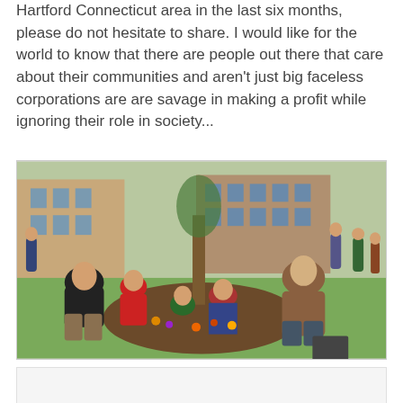Hartford Connecticut area in the last six months, please do not hesitate to share. I would like for the world to know that there are people out there that care about their communities and aren't just big faceless corporations are are savage in making a profit while ignoring their role in society...
[Figure (photo): Community gardening event in a park. Adults and children crouching around a tree planting flowers in a dirt patch on a grassy lawn. Brick buildings visible in background with other people gathered.]